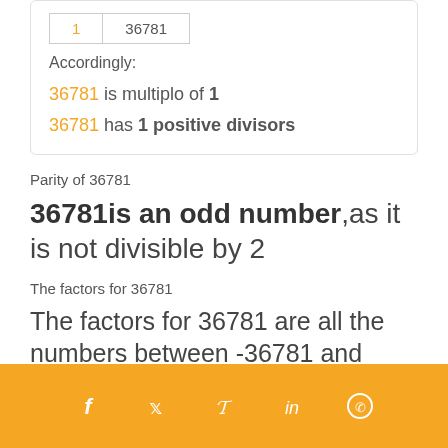|  |  |
| --- | --- |
| 1 | 36781 |
Accordingly:
36781 is multiplo of 1
36781 has 1 positive divisors
Parity of 36781
36781 is an odd number, as it is not divisible by 2
The factors for 36781
The factors for 36781 are all the numbers between -36781 and 36781, which divide 36781 without